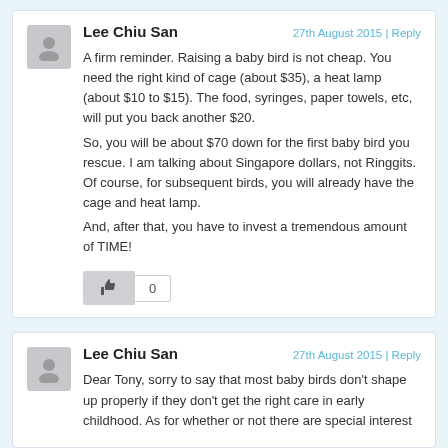Lee Chiu San
27th August 2015 | Reply
A firm reminder. Raising a baby bird is not cheap. You need the right kind of cage (about $35), a heat lamp (about $10 to $15). The food, syringes, paper towels, etc, will put you back another $20.
So, you will be about $70 down for the first baby bird you rescue. I am talking about Singapore dollars, not Ringgits. Of course, for subsequent birds, you will already have the cage and heat lamp.
And, after that, you have to invest a tremendous amount of TIME!
Lee Chiu San
27th August 2015 | Reply
Dear Tony, sorry to say that most baby birds don't shape up properly if they don't get the right care in early childhood. As for whether or not there are special interest